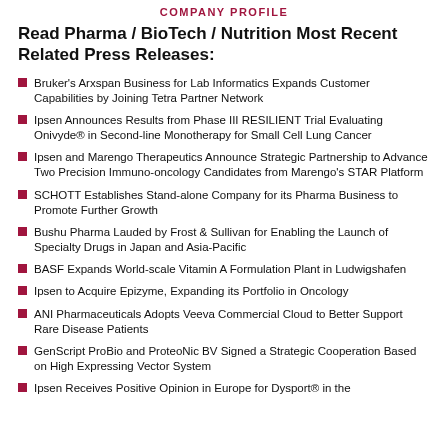Company Profile
Read Pharma / BioTech / Nutrition Most Recent Related Press Releases:
Bruker's Arxspan Business for Lab Informatics Expands Customer Capabilities by Joining Tetra Partner Network
Ipsen Announces Results from Phase III RESILIENT Trial Evaluating Onivyde® in Second-line Monotherapy for Small Cell Lung Cancer
Ipsen and Marengo Therapeutics Announce Strategic Partnership to Advance Two Precision Immuno-oncology Candidates from Marengo's STAR Platform
SCHOTT Establishes Stand-alone Company for its Pharma Business to Promote Further Growth
Bushu Pharma Lauded by Frost & Sullivan for Enabling the Launch of Specialty Drugs in Japan and Asia-Pacific
BASF Expands World-scale Vitamin A Formulation Plant in Ludwigshafen
Ipsen to Acquire Epizyme, Expanding its Portfolio in Oncology
ANI Pharmaceuticals Adopts Veeva Commercial Cloud to Better Support Rare Disease Patients
GenScript ProBio and ProteoNic BV Signed a Strategic Cooperation Based on High Expressing Vector System
Ipsen Receives Positive Opinion in Europe for Dysport® in the